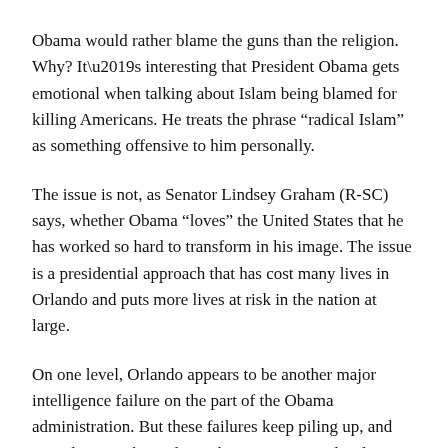Obama would rather blame the guns than the religion. Why? It’s interesting that President Obama gets emotional when talking about Islam being blamed for killing Americans. He treats the phrase “radical Islam” as something offensive to him personally.
The issue is not, as Senator Lindsey Graham (R-SC) says, whether Obama “loves” the United States that he has worked so hard to transform in his image. The issue is a presidential approach that has cost many lives in Orlando and puts more lives at risk in the nation at large.
On one level, Orlando appears to be another major intelligence failure on the part of the Obama administration. But these failures keep piling up, and more lives are being lost. There is a pattern developing of Muslims in the United States carrying out terrorism against Americans.
What has not been explained is whether Obama’s pro-Muslim sympathies tainted the FBI’s “preliminary” investigation of the